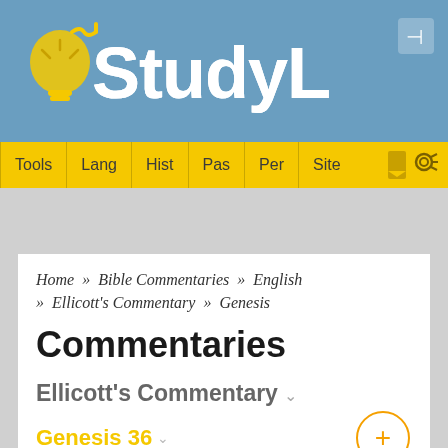[Figure (logo): StudyLight.org website logo on blue header bar with yellow navigation bar containing Tools, Lang, Hist, Pas, Per, Site links]
Home » Bible Commentaries » English » Ellicott's Commentary » Genesis
Commentaries
Ellicott's Commentary ˅
Genesis 36 ˅
[Figure (other): Advertisement box with circular Q icon and gray content area]